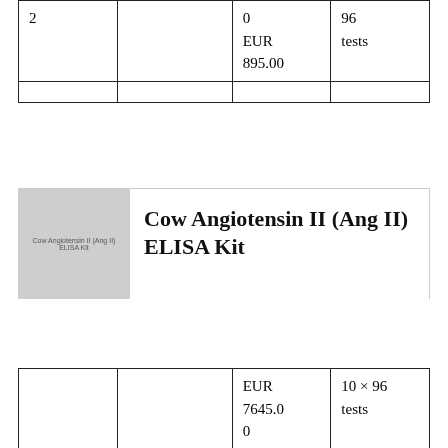| 2 |  | 0
EUR
895.00 | 96
tests |
|  |  |  |  |
[Figure (photo): Product image placeholder for Cow Angiotensin II (Ang II) ELISA Kit showing grey square with text label]
Cow Angiotensin II (Ang II) ELISA Kit
|  |  | EUR
7645.0
0 | 10 × 96
tests |
| 20 |  | EUR | 5 × 96 |